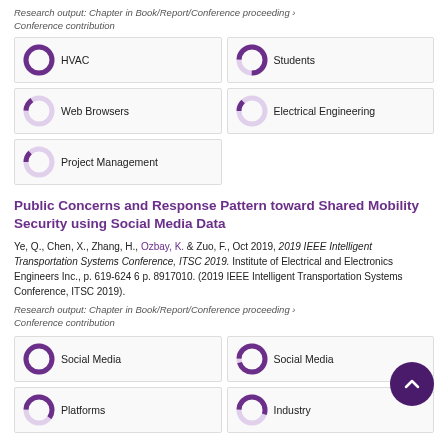Research output: Chapter in Book/Report/Conference proceeding › Conference contribution
[Figure (donut-chart): Donut chart for HVAC ~100%]
[Figure (donut-chart): Donut chart for Students ~75%]
[Figure (donut-chart): Donut chart for Web Browsers ~15%]
[Figure (donut-chart): Donut chart for Electrical Engineering ~13%]
[Figure (donut-chart): Donut chart for Project Management ~13%]
Public Concerns and Response Pattern toward Shared Mobility Security using Social Media Data
Ye, Q., Chen, X., Zhang, H., Ozbay, K. & Zuo, F., Oct 2019, 2019 IEEE Intelligent Transportation Systems Conference, ITSC 2019. Institute of Electrical and Electronics Engineers Inc., p. 619-624 6 p. 8917010. (2019 IEEE Intelligent Transportation Systems Conference, ITSC 2019).
Research output: Chapter in Book/Report/Conference proceeding › Conference contribution
[Figure (donut-chart): Donut chart for Social Media ~100%]
[Figure (donut-chart): Donut chart for Social Media ~95%]
[Figure (donut-chart): Donut chart for Platforms ~60%]
[Figure (donut-chart): Donut chart for Industry ~55%]